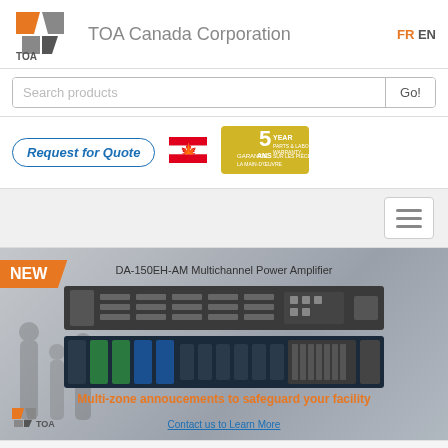[Figure (logo): TOA Canada Corporation logo with orange and grey geometric design]
TOA Canada Corporation
FR EN
Search products
Go!
Request for Quote
[Figure (illustration): Canadian maple leaf flag icon]
[Figure (illustration): 5 Year / 5 Ans warranty badge in gold/brown color]
[Figure (photo): DA-150EH-AM Multichannel Power Amplifier product image showing front panel and rear panel]
DA-150EH-AM Multichannel Power Amplifier
Multi-zone annoucements to safeguard your facility
Contact us to Learn More